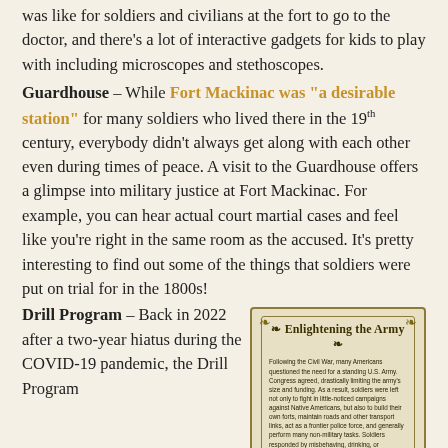was like for soldiers and civilians at the fort to go to the doctor, and there's a lot of interactive gadgets for kids to play with including microscopes and stethoscopes.
Guardhouse – While Fort Mackinac was "a desirable station" for many soldiers who lived there in the 19th century, everybody didn't always get along with each other even during times of peace. A visit to the Guardhouse offers a glimpse into military justice at Fort Mackinac. For example, you can hear actual court martial cases and feel like you're right in the same room as the accused. It's pretty interesting to find out some of the things that soldiers were put on trial for in the 1800s!
Drill Program – Back in 2022 after a two-year hiatus during the COVID-19 pandemic, the Drill Program
[Figure (illustration): Inset box titled 'Enlightening the Army' with decorative border and small body text about post-Civil War army reforms, education programs, libraries, newspapers, and schools for soldiers.]